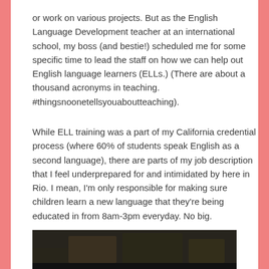or work on various projects. But as the English Language Development teacher at an international school, my boss (and bestie!) scheduled me for some specific time to lead the staff on how we can help out English language learners (ELLs.) (There are about a thousand acronyms in teaching. #thingsnoonetellsyouaboutteaching).
While ELL training was a part of my California credential process (where 60% of students speak English as a second language), there are parts of my job description that I feel underprepared for and intimidated by here in Rio. I mean, I'm only responsible for making sure children learn a new language that they're being educated in from 8am-3pm everyday. No big.
[Figure (photo): Partially visible photo at the bottom of the page, appears to show an indoor scene, dark tones]